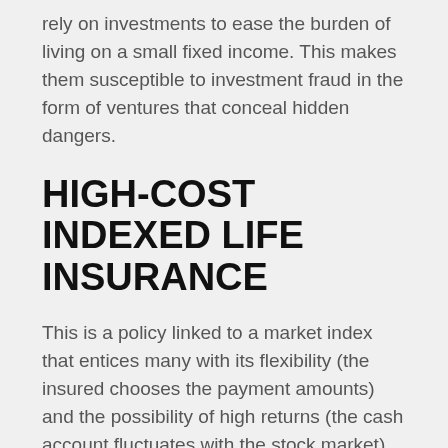rely on investments to ease the burden of living on a small fixed income. This makes them susceptible to investment fraud in the form of ventures that conceal hidden dangers.
HIGH-COST INDEXED LIFE INSURANCE
This is a policy linked to a market index that entices many with its flexibility (the insured chooses the payment amounts) and the possibility of high returns (the cash account fluctuates with the stock market). However, it is a double-edged blade with hidden downsides.
Just as the holder has a say in the amount paid, the indemnifier may raise premiums. The cash value of the account may go down just as easily as it may go up.